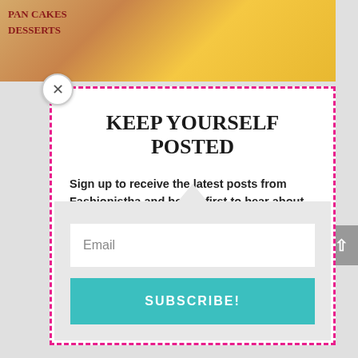[Figure (photo): Top portion of a webpage showing a food/lifestyle blog photo with text 'PAN CAKES' and 'DESSERTS' visible on what appears to be a book or menu, with a person in yellow clothing visible at the right edge.]
KEEP YOURSELF POSTED
Sign up to receive the latest posts from Fashionistha and be the first to hear about upcoming collaborations!
Email
SUBSCRIBE!